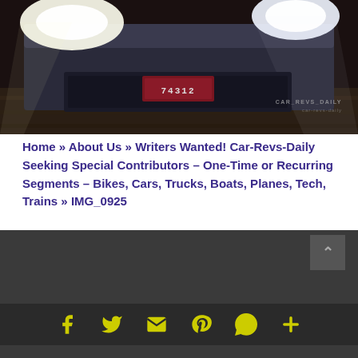[Figure (photo): Front view of a car at night with bright headlights on, showing license plate 74312, in a dark parking area. Watermark reads CAR_REVS_DAILY in bottom right corner.]
Home » About Us » Writers Wanted! Car-Revs-Daily Seeking Special Contributors – One-Time or Recurring Segments – Bikes, Cars, Trucks, Boats, Planes, Tech, Trains » IMG_0925
[Figure (other): Dark gray website footer area with social media icons (Facebook, Twitter, Email, Pinterest, WhatsApp, More) in yellow/green color on dark background, and a scroll-to-top button.]